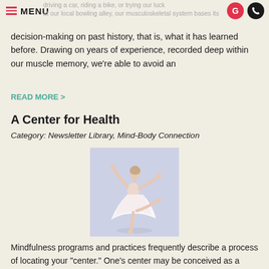MENU
driving a car, riding a bike, or trying our luck at our local bowling alley, our musculoskeletal system bases its decision-making on past history, that is, what it has learned before. Drawing on years of experience, recorded deep within our muscle memory, we're able to avoid an
READ MORE >
A Center for Health
Category: Newsletter Library, Mind-Body Connection
[Figure (photo): A ballet dancer in a white dress performing an arabesque pose against a light purple/blue background]
Mindfulness programs and practices frequently describe a process of locating your "center." One's center may be conceived as a focus of energy, both spiritual and physical, by which all activities may be grounded and from which all activities flow. Similarly, ballet teachers